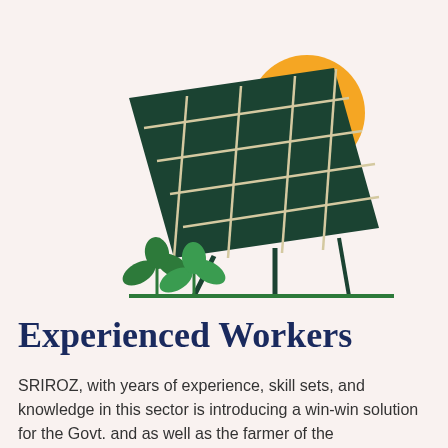[Figure (illustration): Solar panel illustration with a yellow sun behind it, green plants growing at the base, and support legs on a green ground line]
Experienced Workers
SRIROZ, with years of experience, skill sets, and knowledge in this sector is introducing a win-win solution for the Govt. and as well as the farmer of the